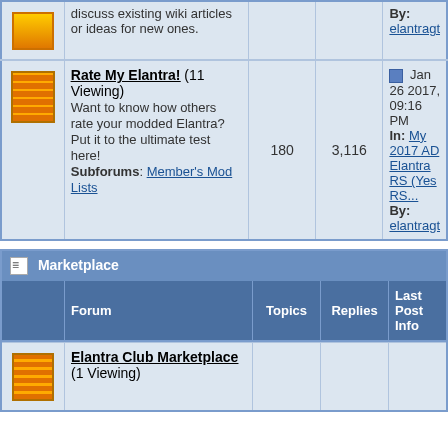| Forum | Topics | Replies | Last Post Info |
| --- | --- | --- | --- |
| Rate My Elantra! (11 Viewing) Want to know how others rate your modded Elantra? Put it to the ultimate test here! Subforums: Member's Mod Lists | 180 | 3,116 | Jan 26 2017, 09:16 PM In: My 2017 AD Elantra RS (Yes RS... By: elantragt |
Marketplace
| Forum | Topics | Replies | Last Post Info |
| --- | --- | --- | --- |
| Elantra Club Marketplace (1 Viewing) |  |  |  |